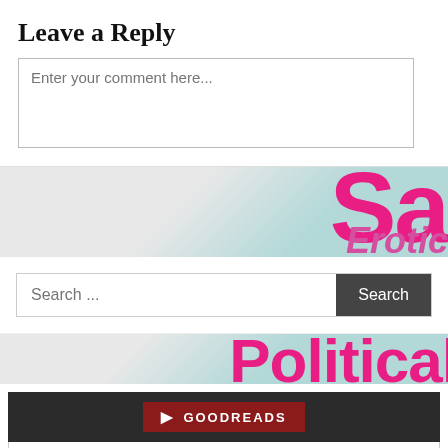Leave a Reply
Enter your comment here...
[Figure (illustration): Decorative blog banner with teal background and pink bold text reading 'Sa' and italic pink text reading 'Erotic']
Search ...
[Figure (illustration): Decorative blog banner with teal/grey background and pink bold text reading 'Political']
GOODREADS
Laon and Cythna
by Percy Bysshe Shelley
I have not done a review but I have made a reading which is posted in parts on my blog. The Revolt of Islam Shelly...